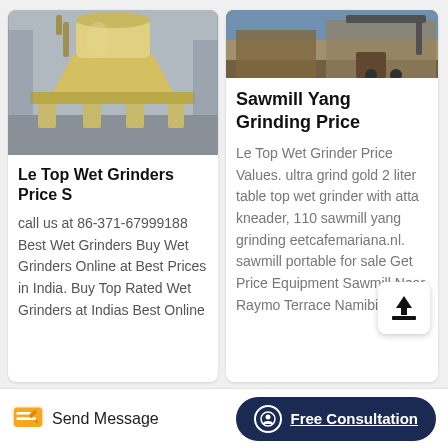[Figure (photo): Yellow/beige heavy industrial cone crusher machine in a factory setting]
Le Top Wet Grinders Price S
call us at 86-371-67999188 Best Wet Grinders Buy Wet Grinders Online at Best Prices in India. Buy Top Rated Wet Grinders at Indias Best Online
[Figure (photo): Outdoor industrial/construction equipment scene]
Sawmill Yang Grinding Price
Le Top Wet Grinder Price Values. ultra grind gold 2 liter table top wet grinder with atta kneader, 110 sawmill yang grinding eetcafemariana.nl. sawmill portable for sale Get Price Equipment Sawmill Near Raymo Terrace Namibia
Send Message
Free Consultation